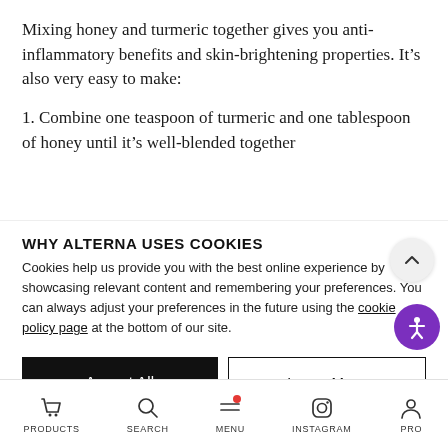Mixing honey and turmeric together gives you anti-inflammatory benefits and skin-brightening properties. It’s also very easy to make:
1. Combine one teaspoon of turmeric and one tablespoon of honey until it’s well-blended together
WHY ALTERNA USES COOKIES
Cookies help us provide you with the best online experience by showcasing relevant content and remembering your preferences. You can always adjust your preferences in the future using the cookie policy page at the bottom of our site.
DIY HONEY FACE MASK
PRODUCTS   SEARCH   MENU   INSTAGRAM   PRO